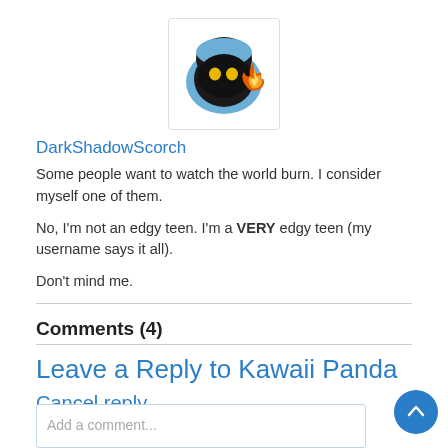[Figure (illustration): Avatar icon: dark rounded helmet shape with two yellow eyes and an orange flame, inside a white box with light border]
DarkShadowScorch
Some people want to watch the world burn. I consider myself one of them.
No, I'm not an edgy teen. I'm a VERY edgy teen (my username says it all).
Don't mind me.
Comments (4)
Leave a Reply to Kawaii Panda Cancel reply
Add a comment...